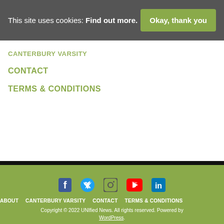This site uses cookies: Find out more.
Okay, thank you
CANTERBURY VARSITY
CONTACT
TERMS & CONDITIONS
[Figure (other): Social media icons: Facebook, Twitter, Instagram, YouTube, LinkedIn]
ABOUT  CANTERBURY VARSITY  CONTACT  TERMS & CONDITIONS
Copyright © 2022 UNIfied News. All rights reserved. Powered by WordPress.